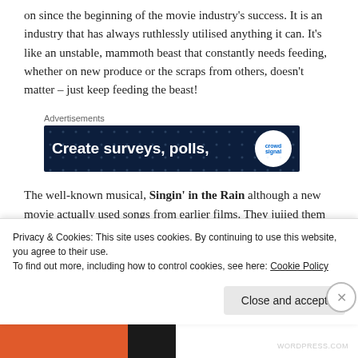on since the beginning of the movie industry's success. It is an industry that has always ruthlessly utilised anything it can. It's like an unstable, mammoth beast that constantly needs feeding, whether on new produce or the scraps from others, doesn't matter – just keep feeding the beast!
[Figure (screenshot): Advertisement banner with dark blue background reading 'Create surveys, polls,' with a circular logo on the right. Label 'Advertisements' above.]
The well-known musical, Singin' in the Rain although a new movie actually used songs from earlier films. They juiied them up for a new audience and set them to dance
Privacy & Cookies: This site uses cookies. By continuing to use this website, you agree to their use.
To find out more, including how to control cookies, see here: Cookie Policy